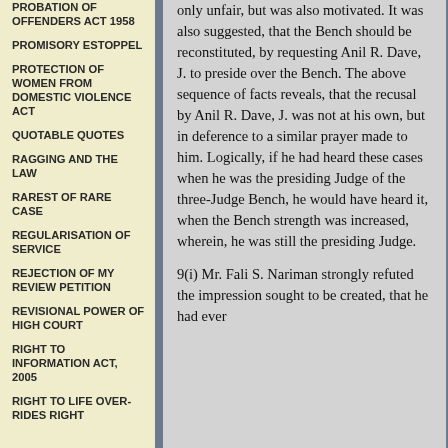PROBATION OF OFFENDERS ACT 1958
PROMISORY ESTOPPEL
PROTECTION OF WOMEN FROM DOMESTIC VIOLENCE ACT
QUOTABLE QUOTES
RAGGING AND THE LAW
RAREST OF RARE CASE
REGULARISATION OF SERVICE
REJECTION OF MY REVIEW PETITION
REVISIONAL POWER OF HIGH COURT
RIGHT TO INFORMATION ACT, 2005
RIGHT TO LIFE OVER-RIDES RIGHT
only unfair, but was also motivated. It was also suggested, that the Bench should be reconstituted, by requesting Anil R. Dave, J. to preside over the Bench. The above sequence of facts reveals, that the recusal by Anil R. Dave, J. was not at his own, but in deference to a similar prayer made to him. Logically, if he had heard these cases when he was the presiding Judge of the three-Judge Bench, he would have heard it, when the Bench strength was increased, wherein, he was still the presiding Judge.
9(i) Mr. Fali S. Nariman strongly refuted the impression sought to be created, that he had ever...